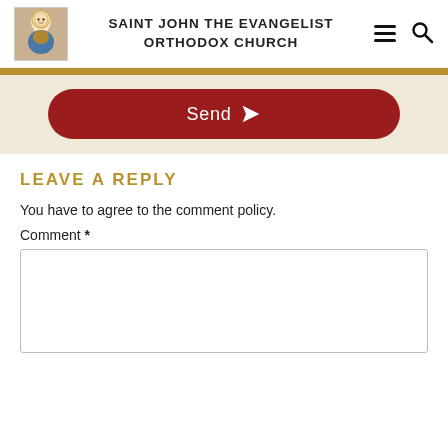SAINT JOHN THE EVANGELIST ORTHODOX CHURCH
[Figure (logo): Church icon/logo image showing a saint figure]
[Figure (infographic): Send button with paper plane icon on a cream/tan background]
LEAVE A REPLY
You have to agree to the comment policy.
Comment *
[Figure (screenshot): Empty comment text area input box]